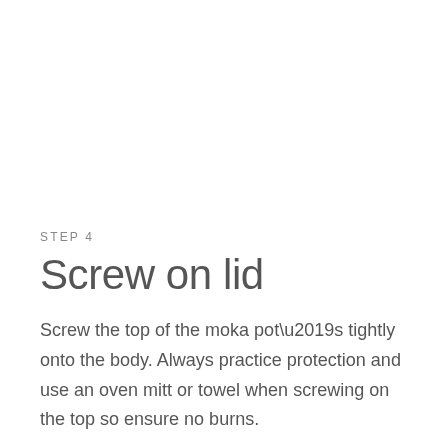STEP 4
Screw on lid
Screw the top of the moka pot’s tightly onto the body. Always practice protection and use an oven mitt or towel when screwing on the top so ensure no burns.